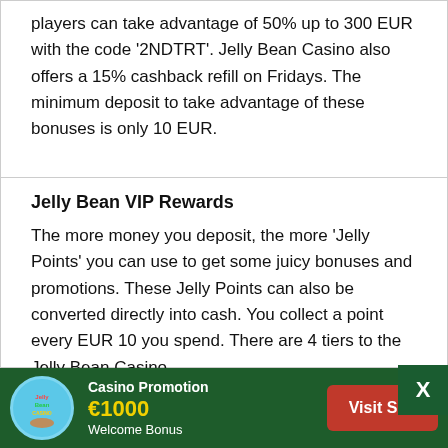players can take advantage of 50% up to 300 EUR with the code '2NDTRT'. Jelly Bean Casino also offers a 15% cashback refill on Fridays. The minimum deposit to take advantage of these bonuses is only 10 EUR.
Jelly Bean VIP Rewards
The more money you deposit, the more 'Jelly Points' you can use to get some juicy bonuses and promotions. These Jelly Points can also be converted directly into cash. You collect a point every EUR 10 you spend. There are 4 tiers to the Jelly Bean Casino
[Figure (logo): Jelly Bean Casino promotion banner with logo, €1000 Welcome Bonus offer and Visit Site button]